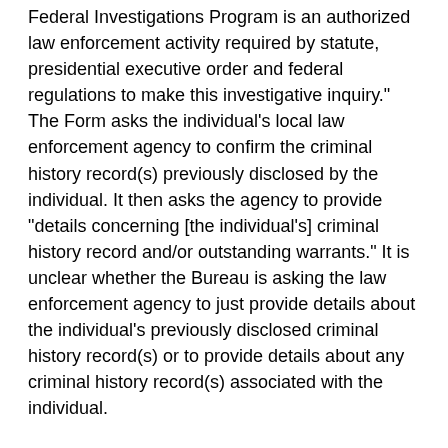Federal Investigations Program is an authorized law enforcement activity required by statute, presidential executive order and federal regulations to make this investigative inquiry." The Form asks the individual's local law enforcement agency to confirm the criminal history record(s) previously disclosed by the individual. It then asks the agency to provide "details concerning [the individual's] criminal history record and/or outstanding warrants." It is unclear whether the Bureau is asking the law enforcement agency to just provide details about the individual's previously disclosed criminal history record(s) or to provide details about any criminal history record(s) associated with the individual.
Criminal History
As noted above, Title VII does not prohibit the Bureau from requesting and/or obtaining criminal history information. We note, however, that the Bureau's